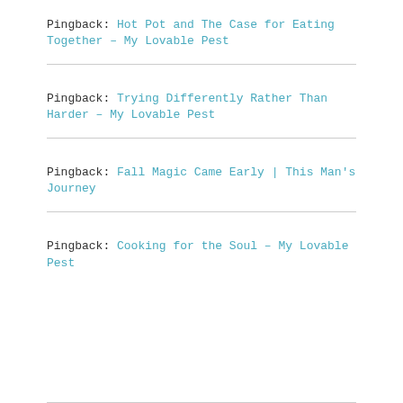Pingback: Hot Pot and The Case for Eating Together – My Lovable Pest
Pingback: Trying Differently Rather Than Harder – My Lovable Pest
Pingback: Fall Magic Came Early | This Man's Journey
Pingback: Cooking for the Soul – My Lovable Pest